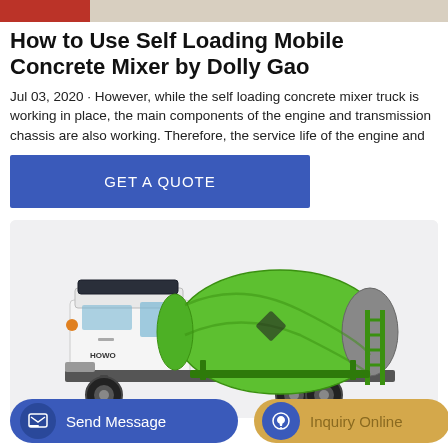[Figure (photo): Top banner image strip showing a construction/concrete site scene in red and beige tones]
How to Use Self Loading Mobile Concrete Mixer by Dolly Gao
Jul 03, 2020 · However, while the self loading concrete mixer truck is working in place, the main components of the engine and transmission chassis are also working. Therefore, the service life of the engine and
[Figure (other): Blue GET A QUOTE call-to-action button]
[Figure (photo): A white and green self-loading mobile concrete mixer truck (HOWO brand) on a light gray background]
[Figure (other): Bottom bar with two buttons: blue 'Send Message' button with icon on the left, and gold/tan 'Inquiry Online' button with blue icon on the right]